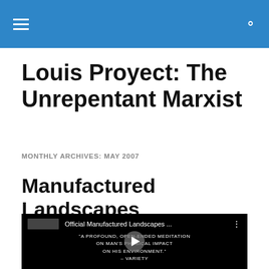Louis Proyect: The Unrepentant Marxist — site navigation header
Louis Proyect: The Unrepentant Marxist
MONTHLY ARCHIVES: MAY 2007
Manufactured Landscapes
[Figure (screenshot): YouTube video embed showing 'Official Manufactured Landscapes ...' with black background and quote text: 'A PROFOUND, OPEN-ENDED MEDITATION ON MAN'S PHYSICAL IMPACT ON HIS ENVIRONMENT.' – VARIETY, with a play button overlay.]